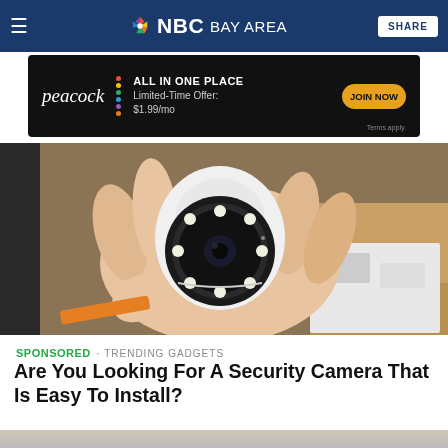NBC Bay Area
[Figure (photo): Peacock streaming service advertisement banner: black background, peacock logo, 'ALL IN ONE PLACE Limited-Time Offer: $1.99/mo JOIN NOW']
[Figure (photo): A hand holding a small white dome security camera with multiple LED lights around the lens, viewed from the front]
SPONSORED · TRENDING GADGETS
Are You Looking For A Security Camera That Is Easy To Install?
[Figure (photo): Bottom portion of another security camera image, partially visible]